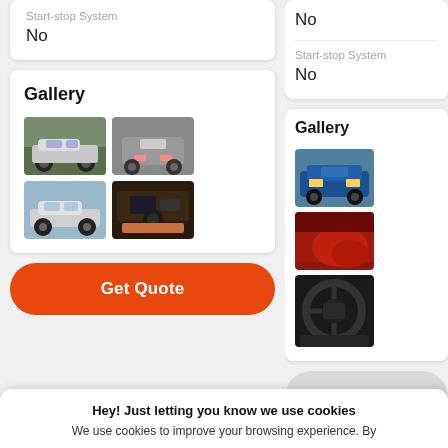Start-stop System
No
Gallery
[Figure (photo): Gallery of BMW Z4 car images: side view, rear view, side view silver, interior]
Get Quote
No
Start-stop System
No
Gallery
[Figure (photo): Gallery of Dodge Challenger car images: blue front, red detail, interior steering wheel]
Get Qu
Hey! Just letting you know we use cookies
We use cookies to improve your browsing experience. By